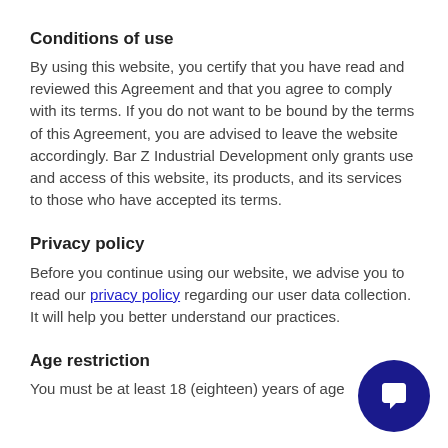Conditions of use
By using this website, you certify that you have read and reviewed this Agreement and that you agree to comply with its terms. If you do not want to be bound by the terms of this Agreement, you are advised to leave the website accordingly. Bar Z Industrial Development only grants use and access of this website, its products, and its services to those who have accepted its terms.
Privacy policy
Before you continue using our website, we advise you to read our privacy policy regarding our user data collection. It will help you better understand our practices.
Age restriction
You must be at least 18 (eighteen) years of age